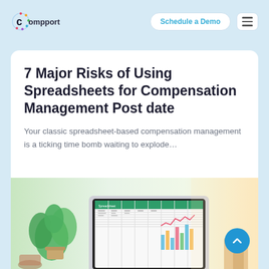Compport — Schedule a Demo
7 Major Risks of Using Spreadsheets for Compensation Management Post date
Your classic spreadsheet-based compensation management is a ticking time bomb waiting to explode...
[Figure (photo): A laptop displaying a spreadsheet with charts, accompanied by a green plant on a desk]